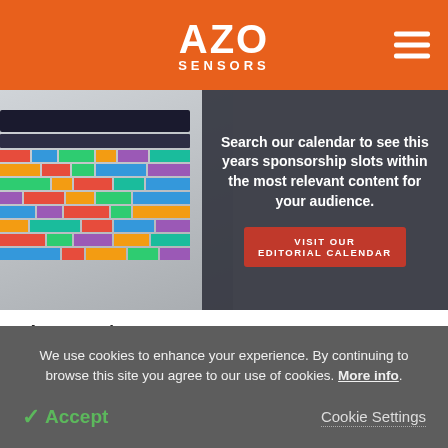AZO SENSORS
[Figure (infographic): AZO Sensors editorial calendar advertisement banner showing a colorful calendar with text: Search our calendar to see this years sponsorship slots within the most relevant content for your audience. Visit Our Editorial Calendar button.]
About AN/TPY-2
We use cookies to enhance your experience. By continuing to browse this site you agree to our use of cookies. More info.
Accept   Cookie Settings